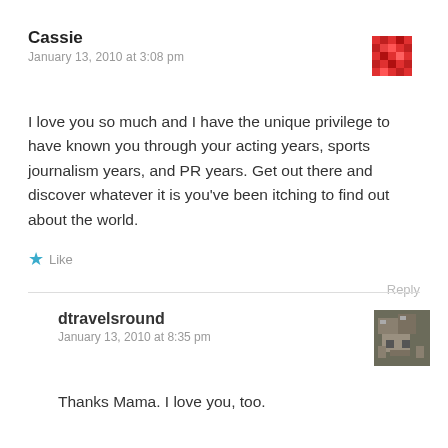Cassie
January 13, 2010 at 3:08 pm
[Figure (illustration): Red pixel-art avatar icon for Cassie]
I love you so much and I have the unique privilege to have known you through your acting years, sports journalism years, and PR years. Get out there and discover whatever it is you've been itching to find out about the world.
★ Like
Reply
dtravelsround
January 13, 2010 at 8:35 pm
[Figure (photo): Small avatar photo for dtravelsround]
Thanks Mama. I love you, too.